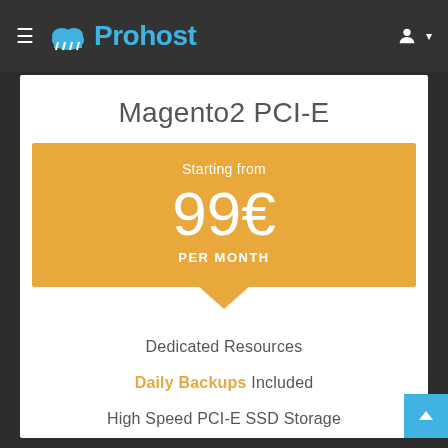Prohost
Magento2 PCI-E
Starting from 99€ PER MONTH
Dedicated Resources
Daily Backups Included
High Speed PCI-E SSD Storage
Scalable
Monthly Biling